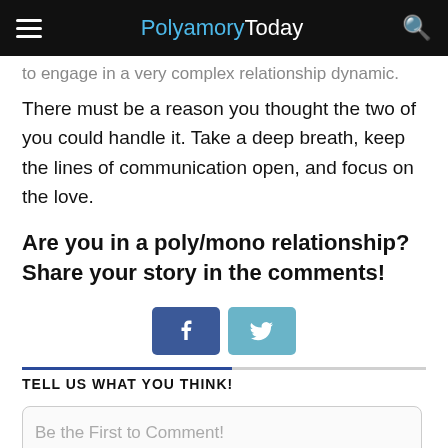PolyamoryToday
to engage in a very complex relationship dynamic.
There must be a reason you thought the two of you could handle it. Take a deep breath, keep the lines of communication open, and focus on the love.
Are you in a poly/mono relationship? Share your story in the comments!
[Figure (other): Facebook and Twitter share buttons]
TELL US WHAT YOU THINK!
Be the First to Comment!